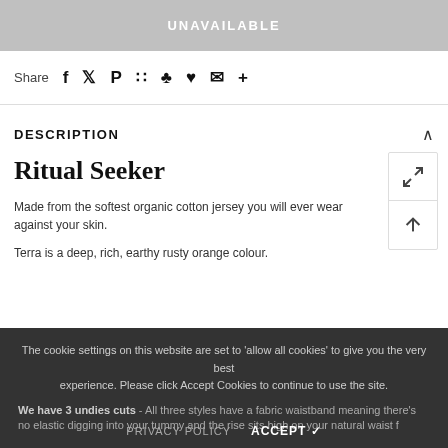UNAVAILABLE
Share
DESCRIPTION
Ritual Seeker
Made from the softest organic cotton jersey you will ever wear against your skin.
Terra is a deep, rich, earthy rusty orange colour.
The cookie settings on this website are set to 'allow all cookies' to give you the very best experience. Please click Accept Cookies to continue to use the site.
We have 3 undies cuts - All three styles have a fabric waistband meaning there's no elastic digging into your tummy and the rise sits high on your natural waist for maximum comfort.
PRIVACY POLICY
ACCEPT ✓